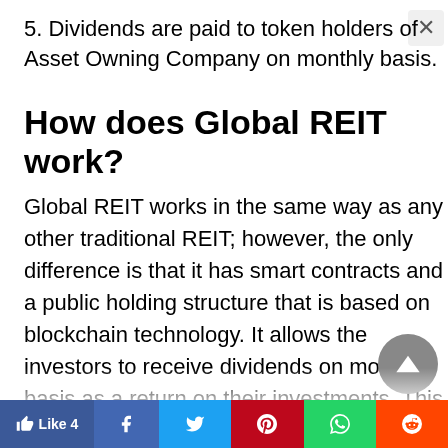5. Dividends are paid to token holders of Asset Owning Company on monthly basis.
How does Global REIT work?
Global REIT works in the same way as any other traditional REIT; however, the only difference is that it has smart contracts and a public holding structure that is based on blockchain technology. It allows the investors to receive dividends on monthly basis as a return on their investments. This platform manages both fund manageris...